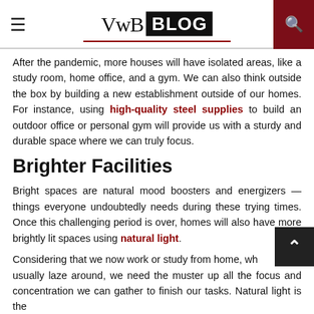VwB BLOG
After the pandemic, more houses will have isolated areas, like a study room, home office, and a gym. We can also think outside the box by building a new establishment outside of our homes. For instance, using high-quality steel supplies to build an outdoor office or personal gym will provide us with a sturdy and durable space where we can truly focus.
Brighter Facilities
Bright spaces are natural mood boosters and energizers — things everyone undoubtedly needs during these trying times. Once this challenging period is over, homes will also have more brightly lit spaces using natural light.
Considering that we now work or study from home, whe we usually laze around, we need the muster up all the focus and concentration we can gather to finish our tasks. Natural light is the